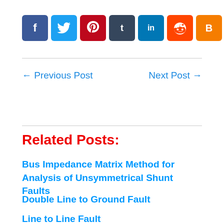[Figure (other): Social media share buttons: Facebook, Twitter, Pinterest, Tumblr, LinkedIn, Reddit, Blogger, Share(+)]
← Previous Post    Next Post →
Related Posts:
Bus Impedance Matrix Method for Analysis of Unsymmetrical Shunt Faults
Double Line to Ground Fault
Line to Line Fault